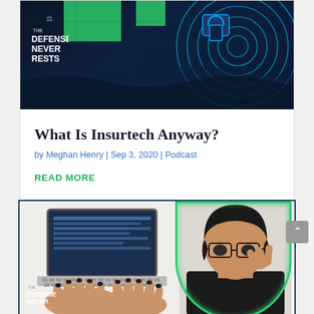[Figure (illustration): Banner image for 'The Defense Never Rests' podcast with dark navy/teal background, green geometric blocks, neon blue cyber swirl and padlock graphic]
What Is Insurtech Anyway?
by Meghan Henry | Sep 3, 2020 | Podcast
READ MORE
[Figure (photo): Photo of a person typing on a laptop with a woman in glasses making a gesture, 'The Defense Never Rests' logo in bottom left, green outline glow around person]